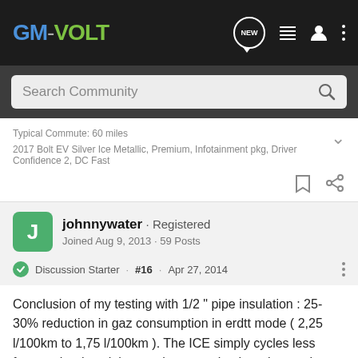GM-VOLT
Search Community
Typical Commute: 60 miles
2017 Bolt EV Silver Ice Metallic, Premium, Infotainment pkg, Driver Confidence 2, DC Fast
johnnywater · Registered
Joined Aug 9, 2013 · 59 Posts
Discussion Starter · #16 · Apr 27, 2014
Conclusion of my testing with 1/2 " pipe insulation : 25-30% reduction in gaz consumption in erdtt mode ( 2,25 l/100km to 1,75 l/100km ). The ICE simply cycles less frequently, since it is a coolant setpoint that triggers the ICE. Testing was done on the same route every day, since i travel to work, and do 130 km